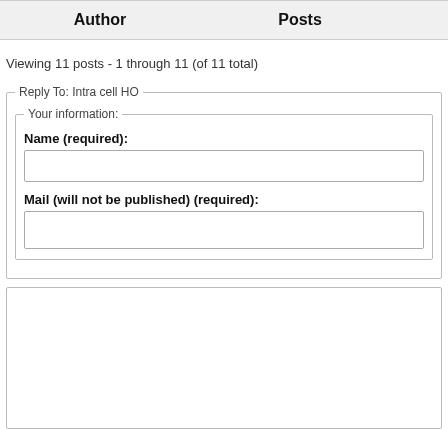| Author | Posts |
| --- | --- |
Viewing 11 posts - 1 through 11 (of 11 total)
Reply To: Intra cell HO
Your information:
Name (required):
Mail (will not be published) (required):